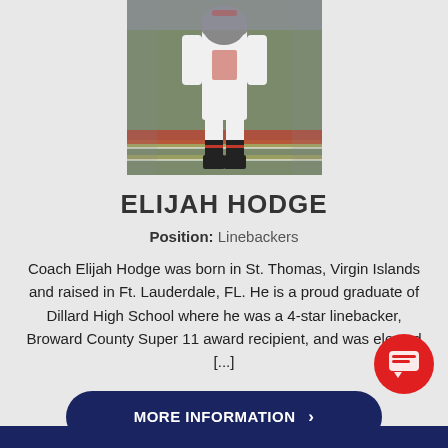[Figure (photo): Football player in white and red uniform running on field]
ELIJAH HODGE
Position: Linebackers
Coach Elijah Hodge was born in St. Thomas, Virgin Islands and raised in Ft. Lauderdale, FL. He is a proud graduate of Dillard High School where he was a 4-star linebacker, Broward County Super 11 award recipient, and was elected [...]
MORE INFORMATION ›